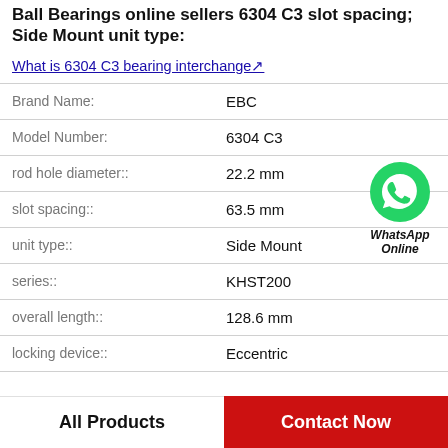Ball Bearings online sellers 6304 C3 slot spacing; Side Mount unit type:
What is 6304 C3 bearing interchange?
| Property | Value |
| --- | --- |
| Brand Name: | EBC |
| Model Number: | 6304 C3 |
| rod hole diameter:: | 22.2 mm |
| slot spacing:: | 63.5 mm |
| unit type:: | Side Mount |
| series:: | KHST200 |
| overall length:: | 128.6 mm |
| locking device:: | Eccentric |
[Figure (logo): WhatsApp Online green phone icon with label 'WhatsApp Online']
All Products
Contact Now